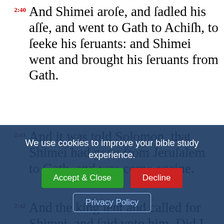2:40 And Shimei arose, and sadled his asse, and went to Gath to Achish, to seeke his seruants: and Shimei went and brought his seruants from Gath.
2:41 And it was told Solomon, that Shimei had gone from Jerusalem to Gath, and was come againe.
2:42 And the king sent and called for Shimei, and said vnto him, Did I not make thee to sweare by the Lord, and protested vnto thee, saying, Know for a certaine, that on the day thou goest out, and walkest abroad any whither, that thou shalt surely die: And thou saidest vnto me, The word that I haue heard is good.
2:43 Why then hast thou not kept the Oath
We use cookies to improve your bible study experience.
Accept & Close | Decline | Privacy Policy